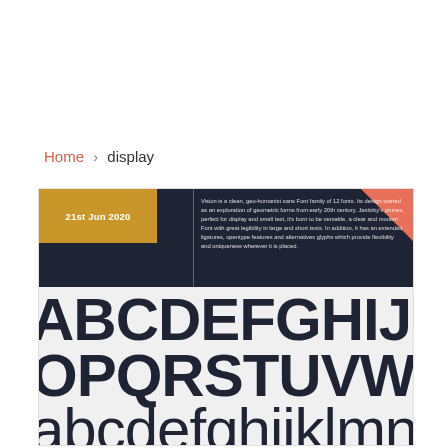Home › display
[Figure (illustration): Font specimen card for 'Vision' typeface showing date badge '21st Jun 2020', description text about the font, and alphabet display rows both uppercase and lowercase on dark and light backgrounds.]